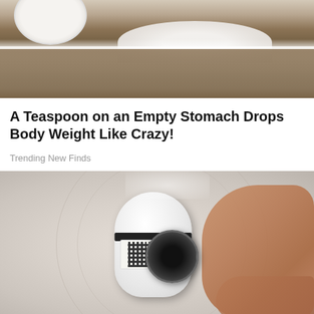[Figure (photo): Photo of a bowl and white powder/sugar spilled on a wooden surface, top portion cropped]
A Teaspoon on an Empty Stomach Drops Body Weight Like Crazy!
Trending New Finds
[Figure (photo): Photo of a person's hand holding a small white security/doorbell camera with a QR code sticker and black lens, against a light background]
Homeowners Are Trading in Their Doorbell Cams